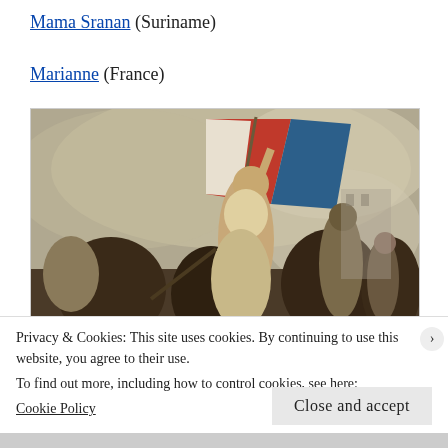Mama Sranan (Suriname)
Marianne (France)
[Figure (illustration): Delacroix's 'Liberty Leading the People' painting showing a woman holding the French tricolor flag leading armed revolutionaries.]
Privacy & Cookies: This site uses cookies. By continuing to use this website, you agree to their use.
To find out more, including how to control cookies, see here:
Cookie Policy
Close and accept